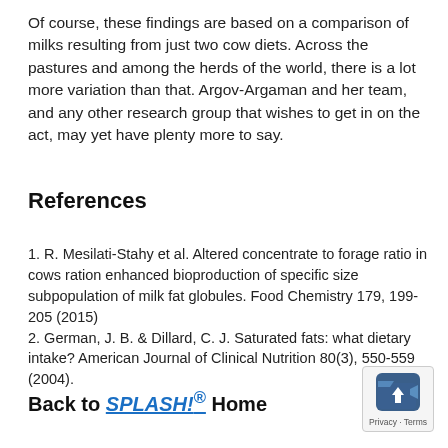Of course, these findings are based on a comparison of milks resulting from just two cow diets. Across the pastures and among the herds of the world, there is a lot more variation than that. Argov-Argaman and her team, and any other research group that wishes to get in on the act, may yet have plenty more to say.
References
1. R. Mesilati-Stahy et al. Altered concentrate to forage ratio in cows ration enhanced bioproduction of specific size subpopulation of milk fat globules. Food Chemistry 179, 199-205 (2015)
2. German, J. B. & Dillard, C. J. Saturated fats: what dietary intake? American Journal of Clinical Nutrition 80(3), 550-559 (2004).
Back to SPLASH!® Home